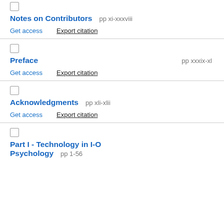Notes on Contributors pp xi-xxxviii
Get access | Export citation
Preface pp xxxix-xl
Get access | Export citation
Acknowledgments pp xli-xlii
Get access | Export citation
Part I - Technology in I-O Psychology pp 1-56